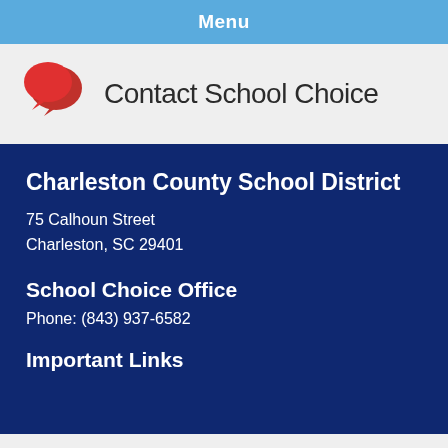Menu
Contact School Choice
Charleston County School District
75 Calhoun Street
Charleston, SC 29401
School Choice Office
Phone: (843) 937-6582
Important Links
View Full Site